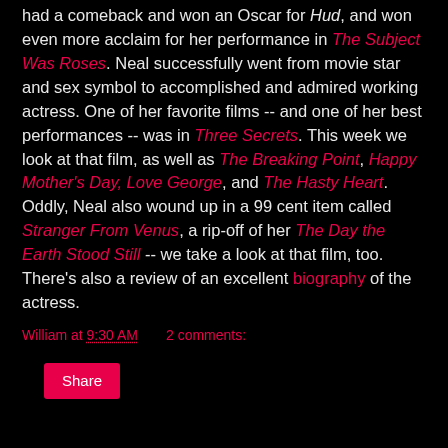had a comeback and won an Oscar for Hud, and won even more acclaim for her performance in The Subject Was Roses. Neal successfully went from movie star and sex symbol to accomplished and admired working actress. One of her favorite films -- and one of her best performances -- was in Three Secrets. This week we look at that film, as well as The Breaking Point, Happy Mother's Day, Love George, and The Hasty Heart. Oddly, Neal also wound up in a 99 cent item called Stranger From Venus, a rip-off of her The Day the Earth Stood Still -- we take a look at that film, too. There's also a review of an excellent biography of the actress.
William at 9:30 AM   2 comments:
Share
THE HASTY HEART
[Figure (photo): Black and white photograph, partial view of a person]
THE HASTY HEART (1949)